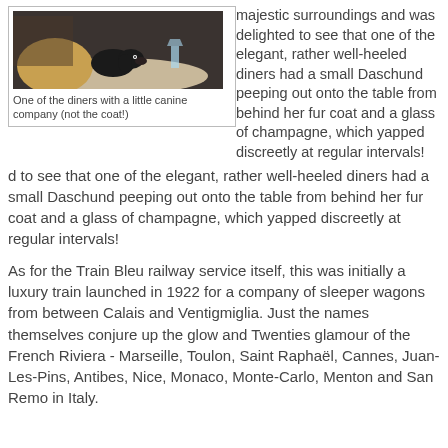[Figure (photo): A photo of a dachshund dog at a restaurant table, with a fur coat visible in the background and a glass on the table.]
One of the diners with a little canine company (not the coat!)
majestic surroundings and was delighted to see that one of the elegant, rather well-heeled diners had a small Daschund peeping out onto the table from behind her fur coat and a glass of champagne, which yapped discreetly at regular intervals!
As for the Train Bleu railway service itself, this was initially a luxury train launched in 1922 for a company of sleeper wagons from between Calais and Ventigmiglia. Just the names themselves conjure up the glow and Twenties glamour of the French Riviera - Marseille, Toulon, Saint Raphaël, Cannes, Juan-Les-Pins, Antibes, Nice, Monaco, Monte-Carlo, Menton and San Remo in Italy.